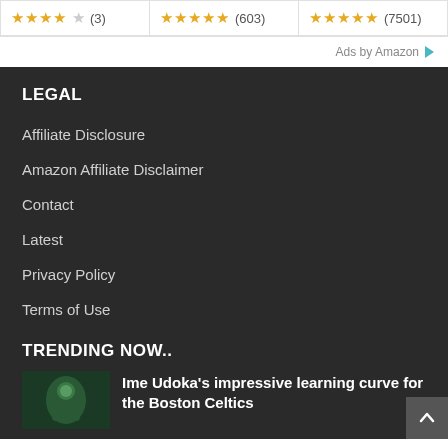[Figure (other): Three product rating cards: (3) stars 3.5/5, (603) stars 5/5, (7501) stars 5/5]
Ads by Amazon
LEGAL
Affiliate Disclosure
Amazon Affiliate Disclaimer
Contact
Latest
Privacy Policy
Terms of Use
TRENDING NOW..
[Figure (photo): Thumbnail image of a basketball player in a green jersey]
Ime Udoka's impressive learning curve for the Boston Celtics